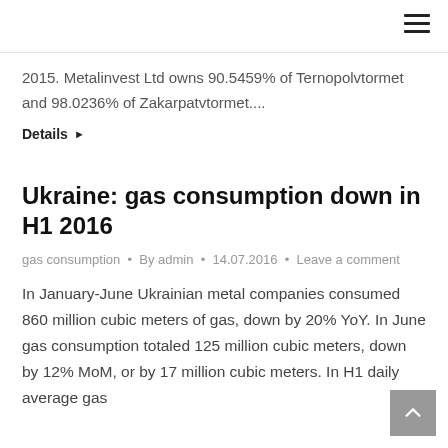2015. Metalinvest Ltd owns 90.5459% of Ternopolvtormet and 98.0236% of Zakarpatvtormet....
Details ▶
Ukraine: gas consumption down in H1 2016
gas consumption • By admin • 14.07.2016 • Leave a comment
In January-June Ukrainian metal companies consumed 860 million cubic meters of gas, down by 20% YoY. In June gas consumption totaled 125 million cubic meters, down by 12% MoM, or by 17 million cubic meters. In H1 daily average gas